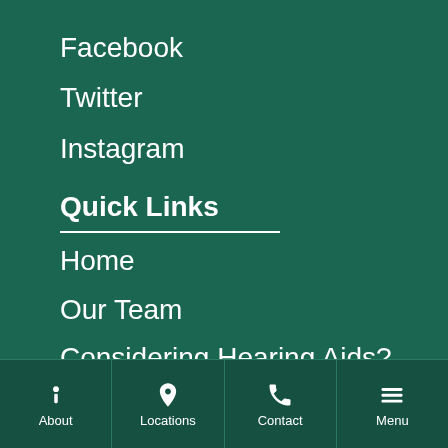Facebook
Twitter
Instagram
Quick Links
Home
Our Team
Considering Hearing Aids?
Sinusitis
Allergy Overview
Contact Us
About | Locations | Contact | Menu